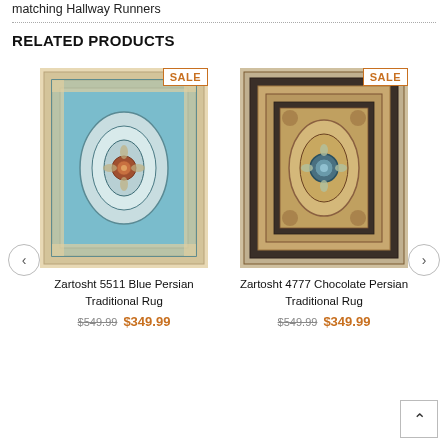matching Hallway Runners
RELATED PRODUCTS
[Figure (photo): Zartosht 5511 Blue Persian Traditional Rug with SALE badge]
Zartosht 5511 Blue Persian Traditional Rug
$549.99  $349.99
[Figure (photo): Zartosht 4777 Chocolate Persian Traditional Rug with SALE badge]
Zartosht 4777 Chocolate Persian Traditional Rug
$549.99  $349.99